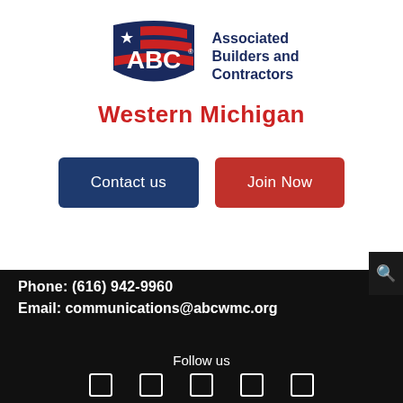[Figure (logo): ABC Associated Builders and Contractors Western Michigan logo with American flag shield and red/navy text]
Contact us
Join Now
Phone: (616) 942-9960
Email: communications@abcwmc.org
Follow us
[Figure (infographic): Five social media icons in white outlines on black background]